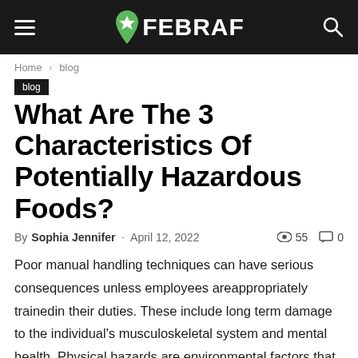FEBRAF
Home › blog
blog
What Are The 3 Characteristics Of Potentially Hazardous Foods?
By Sophia Jennifer - April 12, 2022   55   0
Poor manual handling techniques can have serious consequences unless employees areappropriately trainedin their duties. These include long term damage to the individual's musculoskeletal system and mental health. Physical hazards are environmental factors that can harm an employee without touching them. Chronic